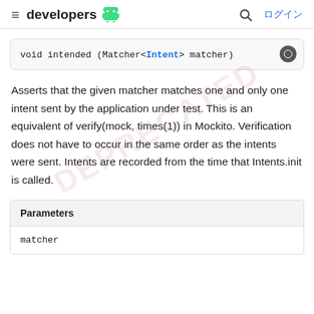≡ developers 🤖  🔍 ログイン
void intended (Matcher<Intent> matcher)
Asserts that the given matcher matches one and only one intent sent by the application under test. This is an equivalent of verify(mock, times(1)) in Mockito. Verification does not have to occur in the same order as the intents were sent. Intents are recorded from the time that Intents.init is called.
| Parameters |
| --- |
| matcher |  |